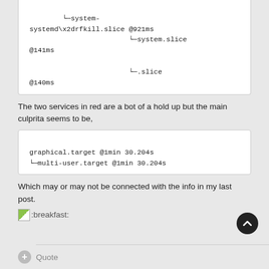└─system-systemd\x2drfkill.slice @921ms
                        └─system.slice @141ms
                        └─.slice @140ms
The two services in red are a bot of a hold up but the main culprita seems to be,
graphical.target @1min 30.204s
└─multi-user.target @1min 30.204s
Which may or may not be connected with the info in my last post.
[Figure (other): Emoji icon for :breakfast:]
+ Quote